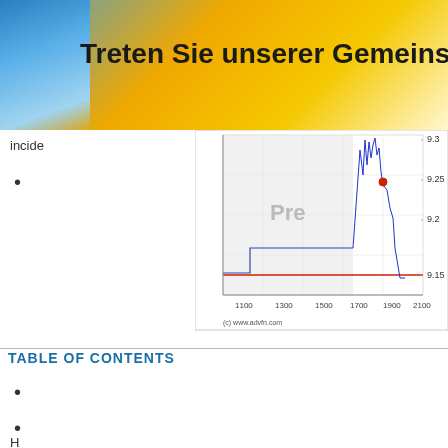[Figure (other): Yellow and blue gradient banner with German text 'Treten Sie unserer Gemeinschaft' (Join our community)]
incide
[Figure (continuous-plot): Stock price intraday chart from approximately 1000 to 2100 on x-axis, price range 9.15 to 9.3 on y-axis, with blue line chart showing price movement and a shaded 'Pre' region, red horizontal line near 9.15, red dot marker near 9.27 at x~1700. Source: (c) www.advfn.com]
TABLE OF CONTENTS
[Figure (infographic): Red advertisement banner with German text: 'SEHEN SIE ES. TAUSCH ES!' in large white bold letters, then 'Mehrere Aktienkurse auf einer Seite anzeigen' and 'Leicht anpassbare' in white text, with decorative purple/gold graphic element in bottom right corner.]